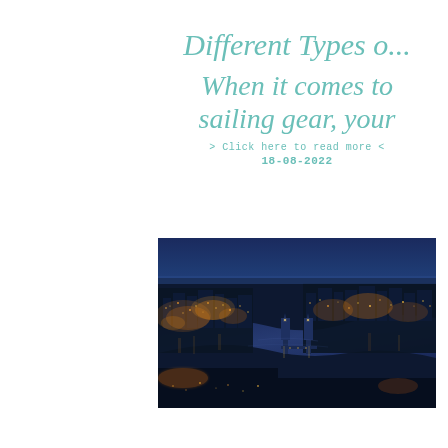Different Types o...
When it comes to sailing gear, your
> Click here to read more <
18-08-2022
[Figure (photo): Aerial night view of London showing the River Thames with Tower Bridge illuminated, city lights spread across the urban landscape, shot from a high vantage point at dusk/blue hour]